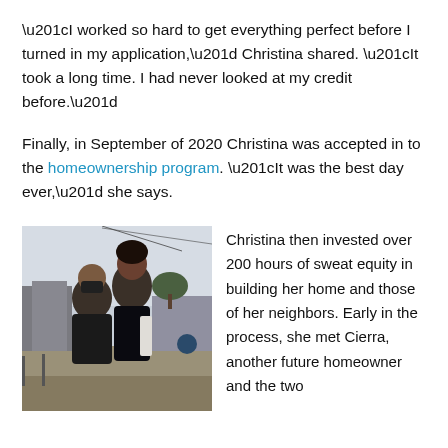“I worked so hard to get everything perfect before I turned in my application,” Christina shared. “It took a long time. I had never looked at my credit before.”
Finally, in September of 2020 Christina was accepted in to the homeownership program. “It was the best day ever,” she says.
[Figure (photo): Photo of two women standing together outdoors at a construction site. Both are wearing dark clothing; one wears a black face mask. There are trees and buildings visible in the background.]
Christina then invested over 200 hours of sweat equity in building her home and those of her neighbors. Early in the process, she met Cierra, another future homeowner and the two